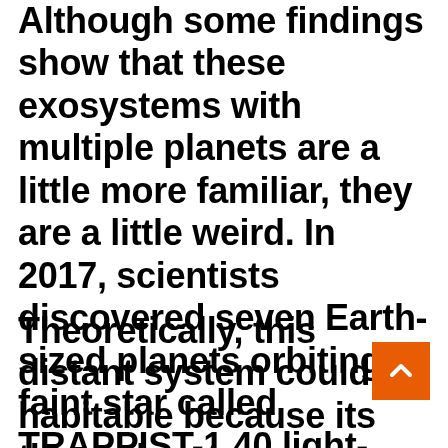Although some findings show that these exosystems with multiple planets are a little more familiar, they are a little weird. In 2017, scientists discovered seven Earth-sized planets orbiting a faint star called TRAPPIST-1 40 light-years away. It orbits for only about 20 days.
Theoretically, this distant system could be habitable because its three planets are